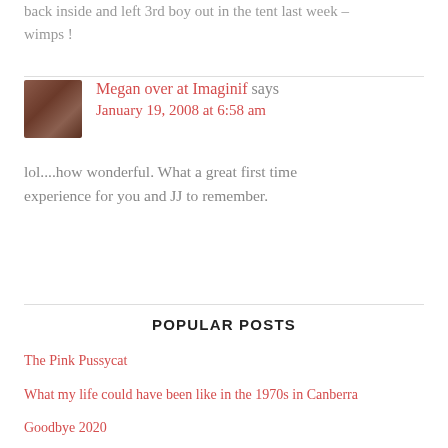back inside and left 3rd boy out in the tent last week – wimps !
Megan over at Imaginif says
January 19, 2008 at 6:58 am
lol....how wonderful. What a great first time experience for you and JJ to remember.
POPULAR POSTS
The Pink Pussycat
What my life could have been like in the 1970s in Canberra
Goodbye 2020